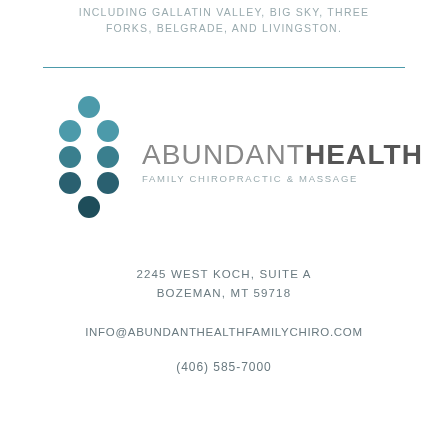INCLUDING GALLATIN VALLEY, BIG SKY, THREE FORKS, BELGRADE, AND LIVINGSTON.
[Figure (logo): Abundant Health Family Chiropractic & Massage logo with teal circular figure icon and two-tone text]
2245 WEST KOCH, SUITE A
BOZEMAN, MT 59718
INFO@ABUNDANTHEALTHFAMILYCHIRO.COM
(406) 585-7000